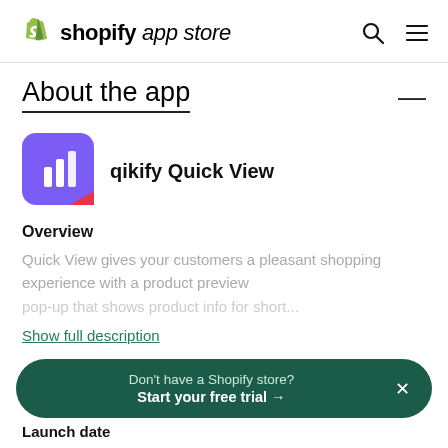shopify app store
About the app
[Figure (logo): qikify Quick View app icon — purple rounded square with white bar chart icon and red accent corner]
qikify Quick View
Overview
Quick View gives your customers a pleasant shopping experience with a product preview pop-up that shows product info for short...
Show full description
Don't have a Shopify store?
Start your free trial →
Launch date